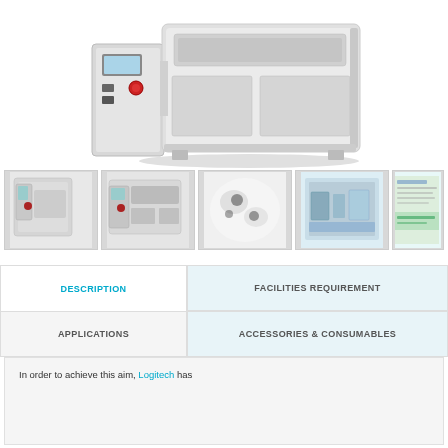[Figure (photo): Large white industrial lapping/polishing machine with touchscreen panel and emergency stop button, shown from a 3/4 angle on white background]
[Figure (photo): Thumbnail 1: Front view of white industrial machine]
[Figure (photo): Thumbnail 2: Side/front view of white industrial machine showing control panel]
[Figure (photo): Thumbnail 3: Close-up of white polishing pad or material]
[Figure (photo): Thumbnail 4: Interior view of machine with blue-lit components]
[Figure (photo): Thumbnail 5: Partially visible product brochure or datasheet]
DESCRIPTION
FACILITIES REQUIREMENT
APPLICATIONS
ACCESSORIES & CONSUMABLES
In order to achieve this aim, Logitech has